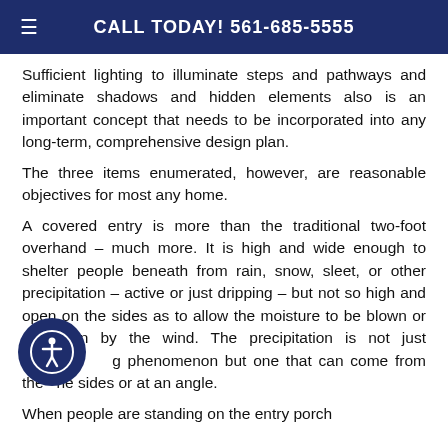CALL TODAY! 561-685-5555
Sufficient lighting to illuminate steps and pathways and eliminate shadows and hidden elements also is an important concept that needs to be incorporated into any long-term, comprehensive design plan.
The three items enumerated, however, are reasonable objectives for most any home.
A covered entry is more than the traditional two-foot overhand – much more. It is high and wide enough to shelter people beneath from rain, snow, sleet, or other precipitation – active or just dripping – but not so high and open on the sides as to allow the moisture to be blown or driven in by the wind. The precipitation is not just a falling phenomenon but one that can come from the sides or at an angle.
When people are standing on the entry porch